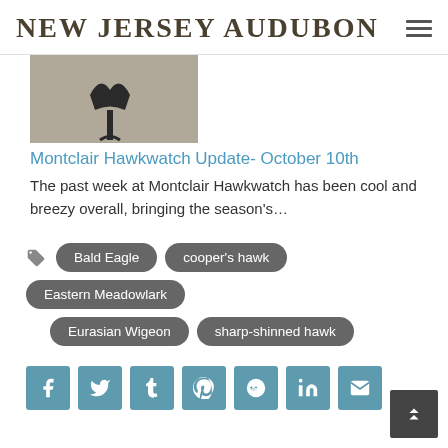NEW JERSEY AUDUBON
[Figure (photo): Partial photo of a bird (hawk silhouette) against a gray background, cropped at top of page]
Montclair Hawkwatch Update- October 10th
The past week at Montclair Hawkwatch has been cool and breezy overall, bringing the season's...
Bald Eagle
cooper's hawk
Eastern Meadowlark
Eurasian Wigeon
sharp-shinned hawk